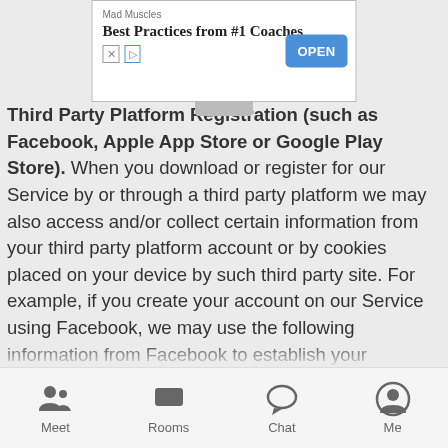[Figure (screenshot): Ad banner for Mad Muscles app showing 'Best Practices from #1 Coaches' with an OPEN button]
Third Party Platform Registration (such as Facebook, Apple App Store or Google Play Store). When you download or register for our Service by or through a third party platform we may also access and/or collect certain information from your third party platform account or by cookies placed on your device by such third party site. For example, if you create your account on our Service using Facebook, we may use the following information from Facebook to establish your account: your email address, hometown, gender, profile photo, date of birth, friends list and userID. In addition, in the course of providing our Service on third party platforms, such as the Apple App Store or the Google Play Store, the platforms may collect information about you or receive information from us in order for that platform to provide and analyze their services. Please note that these platforms are developed and administered by people or companies not affiliated with us or any of our Services and that we are not responsible for the actions of those people or companies. You should carefully review the terms of service and
[Figure (screenshot): Bottom navigation bar with Meet, Rooms, Chat, Me icons]